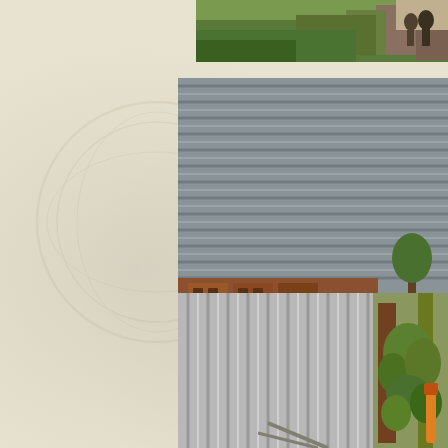[Figure (photo): Small photo at top right showing an outdoor scene with green vegetation, people, and some materials or debris in the background.]
[Figure (photo): Large photo on the right side showing a corrugated metal wall/silo with a pile of red/brown bricks or hollow clay blocks and cinder blocks stacked against it, with green weeds and plants growing around the base.]
[Figure (photo): Bottom right photo showing corrugated metal sheets or roofing material stored vertically, with some green plants or vegetables visible in the background.]